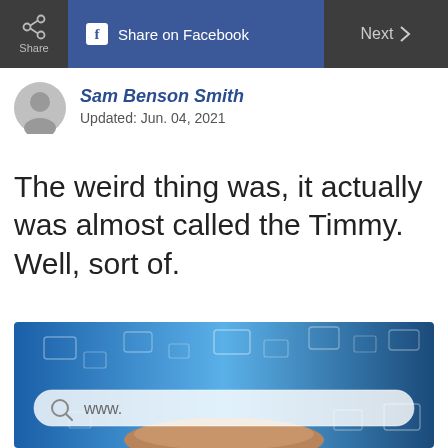Share | Share on Facebook | Next >
Sam Benson Smith
Updated: Jun. 04, 2021
The weird thing was, it actually was almost called the Timmy. Well, sort of.
[Figure (photo): Person holding a glowing transparent browser search bar with 'www.' typed in it, floating above their palm against a blurred blue digital background with floating rectangles]